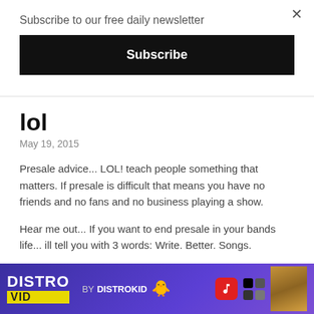Subscribe to our free daily newsletter
Subscribe
lol
May 19, 2015
Presale advice... LOL! teach people something that matters. If presale is difficult that means you have no friends and no fans and no business playing a show.
Hear me out... If you want to end presale in your bands life... ill tell you with 3 words: Write. Better. Songs.
Ps. Please educate yourself on current local music industry practic…
[Figure (screenshot): Advertisement banner for DISTROVID by DISTROKID with purple background, yellow VID label, duck emoji, music app icon, and photo thumbnail]